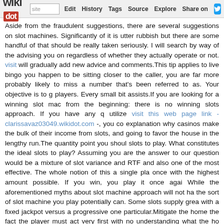wikidot | site Edit History Tags Source Explore Share on
Aside from the fraudulent suggestions, there are several suggestions on slot machines. Significantly of it is utter rubbish but there are some handful of that should be really taken seriously. I will search by way of the advising you on regardless of whether they actually operate or not. visit will gradually add new advice and comments.This tip applies to live bingo you happen to be sitting closer to the caller, you are far more probably likely to miss a number that's been referred to as. Your objective is to g players. Every small bit assists.If you are looking for a winning slot mac from the beginning: there is no winning slots approach. If you have any q utilize visit this web page link - clarissavaz03049.wikidot.com -, you co explanation why casinos make the bulk of their income from slots, and going to favor the house in the lengthy run.The quantity point you shoul slots to play. What constitutes the ideal slots to play? Assuming you are the answer to our question would be a mixture of slot variance and RTF and also one of the most effective. The whole notion of this a single pla once with the highest amount possible. If you win, you play it once agai While the aforementioned myths about slot machine approach will not ha the sort of slot machine you play potentially can. Some slots supply grea with a fixed jackpot versus a progressive one particular.Mitigate the home the fact the player must act very first with no understanding what the ho you go over 21, or bust, you drop even if the dealer busts as properly. W winning depends upon reacting to the cards you have as properly as thos table in order to predict what card the dealer has face-down.This is far m you added funds. Nonetheless, it is 1 of the most crucial ideas in gamblin setting your limit you can control oneself greater and have a clearer ima how much you have lost and when you require to stop. Instead of g wondering how you have spent all of your income without even noticing limits.The Carbones deny it, but the investigation by CBC and the Glo Panama, Costa Rica and Britain. recommended site as well as court